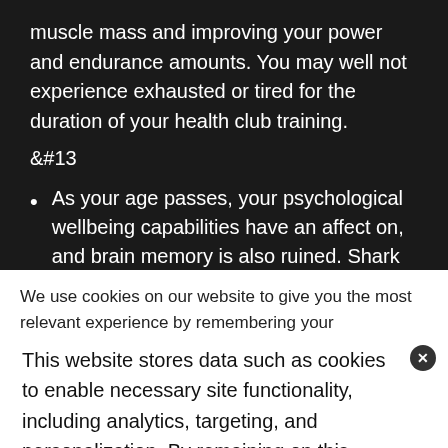muscle mass and improving your power and endurance amounts. You may well not experience exhausted or tired for the duration of your health club training.
&#13
As your age passes, your psychological wellbeing capabilities have an affect on, and brain memory is also ruined. Shark Tank keto charge products help in improving upon your
We use cookies on our website to give you the most relevant experience by remembering your preferences and repeat
visits. By clicking "Accept All", you consent to the use of ALL the cookies. However, you may visit "Cookie Settings" to provide a controlled consent.
This website stores data such as cookies to enable necessary site functionality, including analytics, targeting, and personalization. By remaining on this website you indicate your consent Cookie Policy